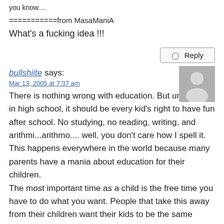you know....
===========from MasaManiA
What's a fucking idea !!!
Reply
bullshiite says:
Mar 13, 2005 at 7:37 am
There is nothing wrong with education. But until you're in high school, it should be every kid's right to have fun after school. No studying, no reading, writing, and arithmi...arithmo.... well, you don't care how I spell it. This happens everywhere in the world because many parents have a mania about education for their children. The most important time as a child is the free time you have to do what you want. People that take this away from their children want their kids to be the same boring sheen